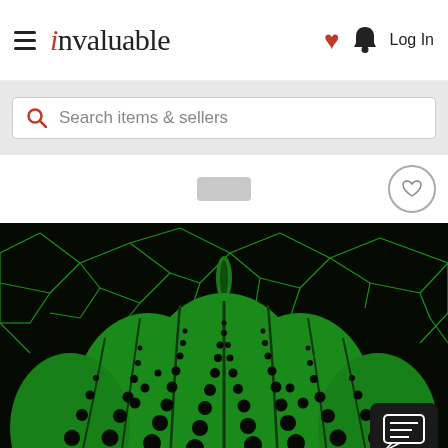invaluable — Log In
Search items & sellers
[Figure (screenshot): Invaluable auction website screenshot showing the header with hamburger menu, invaluable logo, heart icon, bell icon, Log In text, a search bar saying 'Search items & sellers', and below a large artwork image of a Yayoi Kusama-style green pumpkin with black dot pattern on black background with crackled green network lines. A circular heart/favorite button appears top-right of the image area. A chat button appears bottom-right of the artwork.]